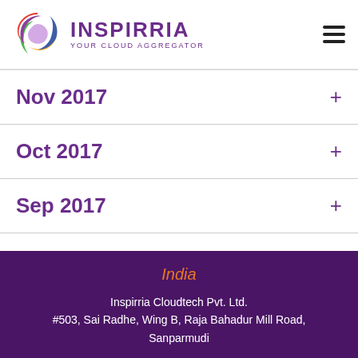[Figure (logo): Inspirria logo with colorful swirl and text 'INSPIRRIA YOUR CLOUD AGGREGATOR']
Nov 2017 +
Oct 2017 +
Sep 2017 +
India
Inspirria Cloudtech Pvt. Ltd.
#503, Sai Radhe, Wing B, Raja Bahadur Mill Road, Sanparmudi